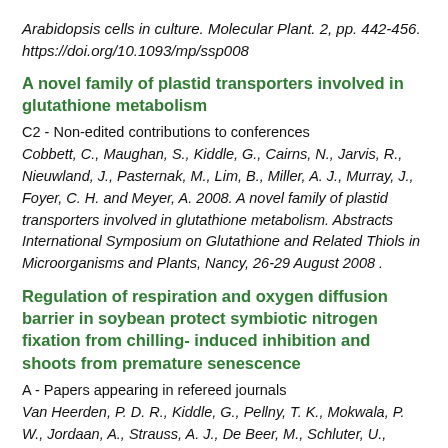Arabidopsis cells in culture. Molecular Plant. 2, pp. 442-456. https://doi.org/10.1093/mp/ssp008
A novel family of plastid transporters involved in glutathione metabolism
C2 - Non-edited contributions to conferences
Cobbett, C., Maughan, S., Kiddle, G., Cairns, N., Jarvis, R., Nieuwland, J., Pasternak, M., Lim, B., Miller, A. J., Murray, J., Foyer, C. H. and Meyer, A. 2008. A novel family of plastid transporters involved in glutathione metabolism. Abstracts International Symposium on Glutathione and Related Thiols in Microorganisms and Plants, Nancy, 26-29 August 2008 .
Regulation of respiration and oxygen diffusion barrier in soybean protect symbiotic nitrogen fixation from chilling- induced inhibition and shoots from premature senescence
A - Papers appearing in refereed journals
Van Heerden, P. D. R., Kiddle, G., Pellny, T. K., Mokwala, P. W., Jordaan, A., Strauss, A. J., De Beer, M., Schluter, U.,